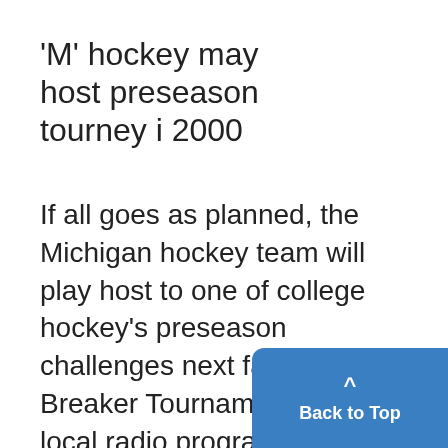'M' hockey may host preseason tourney i 2000
If all goes as planned, the Michigan hockey team will play host to one of college hockey's preseason challenges next fall, the Ice Breaker Tournament. On his local radio program yesterday, Michigan hockey coach Red Berenson said he is "95 percent sure that Yost Ice Arena will be home to the 2000 Ice Breaker
[Figure (other): Blue 'Back to Top' button with upward arrow chevron in bottom-right corner]